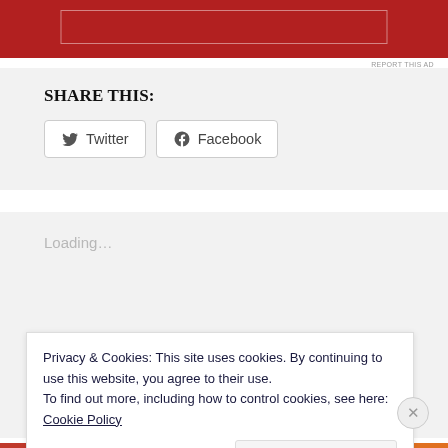[Figure (other): Red advertisement banner at top of page with light border rectangle inside]
REPORT THIS AD
Share This:
Twitter
Facebook
Loading...
Privacy & Cookies: This site uses cookies. By continuing to use this website, you agree to their use.
To find out more, including how to control cookies, see here:
Cookie Policy
Close and accept